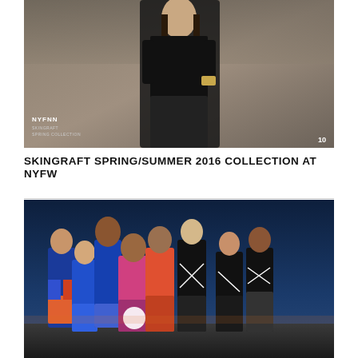[Figure (photo): Fashion model wearing black sleeveless top holding a gold accessory, posed against a grey/beige background. Text overlay in bottom left reads 'NYFNN' and 'SKINGRAFT SPRING COLLECTION' with number '10' in bottom right.]
SKINGRAFT SPRING/SUMMER 2016 COLLECTION AT NYFW
[Figure (photo): Group of eight female fashion models posing outdoors against a twilight sky background. Models wear colorful and black/white fashion outfits including floral prints, blue activewear, and geometric black and white designs.]